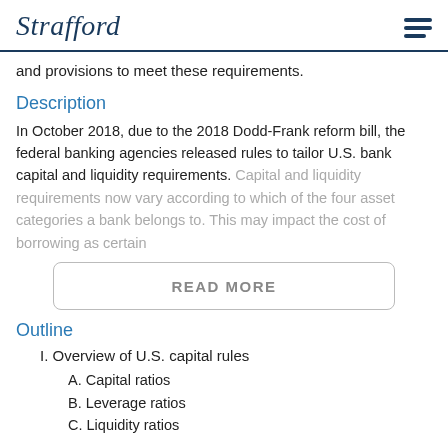Strafford
and provisions to meet these requirements.
Description
In October 2018, due to the 2018 Dodd-Frank reform bill, the federal banking agencies released rules to tailor U.S. bank capital and liquidity requirements. Capital and liquidity requirements now vary according to which of the four asset categories a bank belongs to. This may impact the cost of borrowing as certain...
READ MORE
Outline
I. Overview of U.S. capital rules
A. Capital ratios
B. Leverage ratios
C. Liquidity ratios